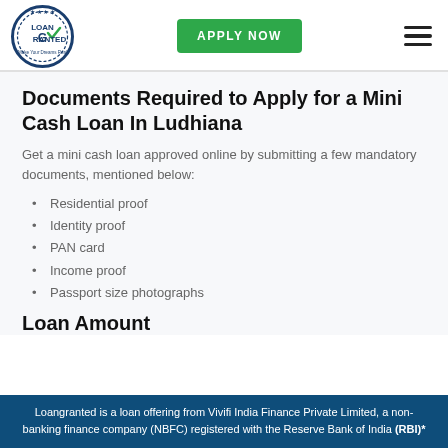[Figure (logo): Loan Granted circular logo with checkmark and text 'Make Your Dreams Real']
APPLY NOW
Documents Required to Apply for a Mini Cash Loan In Ludhiana
Get a mini cash loan approved online by submitting a few mandatory documents, mentioned below:
Residential proof
Identity proof
PAN card
Income proof
Passport size photographs
Loan Amount
Loangranted is a loan offering from Vivifi India Finance Private Limited, a non-banking finance company (NBFC) registered with the Reserve Bank of India (RBI)*